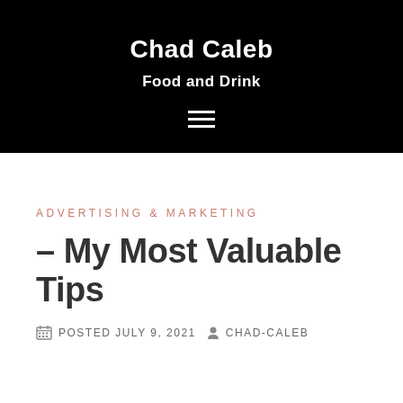Chad Caleb
Food and Drink
ADVERTISING & MARKETING
– My Most Valuable Tips
POSTED JULY 9, 2021   CHAD-CALEB